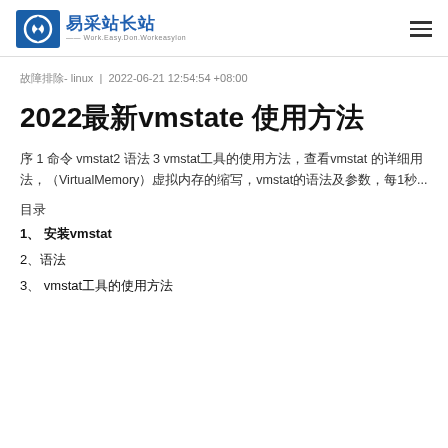易采站长站 | Work.Easy.Don.Workeasydon
故障排除- linux | 2022-06-21 12:54:54 +08:00
2022年最新vmstate 使用方法
序 1 命令 vmstat2 语法 3 vmstat工具的使用方法，查看vmstat 的详细用法，（VirtualMemory）虚拟内存的缩写，vmstat的语法及参数，每1秒...
目录
1、 安装vmstat
2、语法
3、 vmstat工具的使用方法